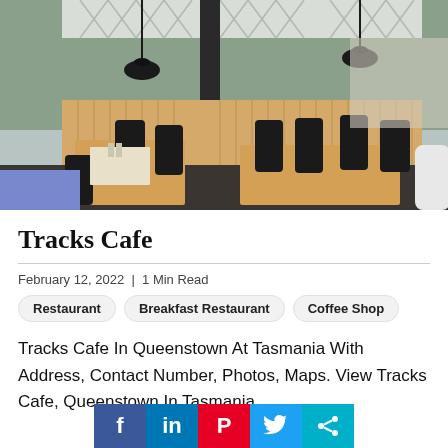[Figure (photo): Interior of Tracks Cafe showing wooden tables, black chairs, wood-paneled booth seating, pendant lamps, large windows with decorative lattice trim, and a dark column in the center.]
Tracks Cafe
February 12, 2022  |  1 Min Read
Restaurant
Breakfast Restaurant
Coffee Shop
Tracks Cafe In Queenstown At Tasmania With Address, Contact Number, Photos, Maps. View Tracks Cafe, Queenstown In Tasmania.